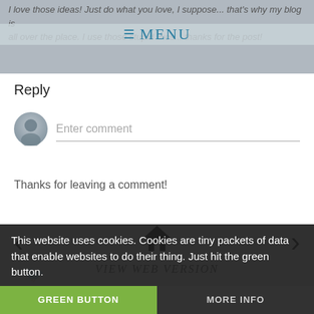I love those ideas! Just do what you love, I suppose... that's why my blog is all over the place. I use those stupid likes... thanks for the post!
≡ MENU
Reply
[Figure (screenshot): User avatar circle (default grey silhouette) and comment input field with placeholder text 'Enter comment']
Thanks for leaving a comment!
[Figure (infographic): Navigation row with left arrow, home icon, and right arrow]
VIEW WEB VERSION
This website uses cookies. Cookies are tiny packets of data that enable websites to do their thing. Just hit the green button.
GREEN BUTTON
MORE INFO